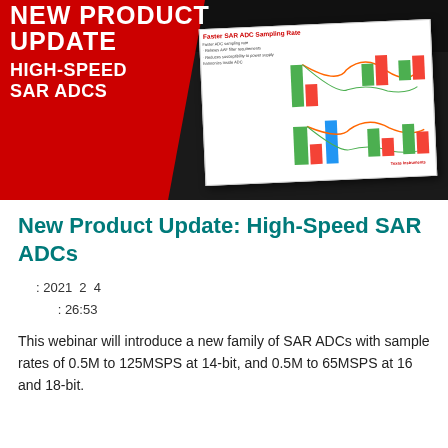[Figure (illustration): Thumbnail image for a product update webinar about High-Speed SAR ADCs. Dark background with red panel on left showing text 'NEW PRODUCT UPDATE / HIGH-SPEED SAR ADCS' in white bold uppercase letters. On the right is a white slide preview showing 'Faster SAR ADC Sampling Rate' with bullet points and bar charts.]
New Product Update: High-Speed SAR ADCs
: 2021  2  4
: 26:53
This webinar will introduce a new family of SAR ADCs with sample rates of 0.5M to 125MSPS at 14-bit, and 0.5M to 65MSPS at 16 and 18-bit.